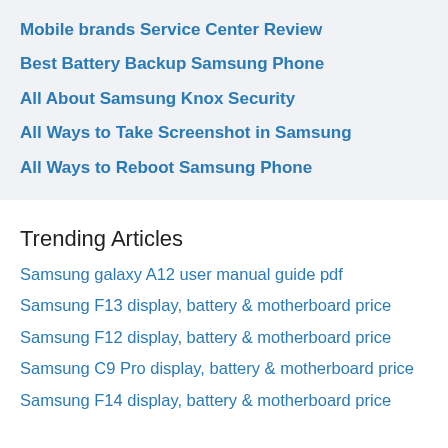Mobile brands Service Center Review
Best Battery Backup Samsung Phone
All About Samsung Knox Security
All Ways to Take Screenshot in Samsung
All Ways to Reboot Samsung Phone
Trending Articles
Samsung galaxy A12 user manual guide pdf
Samsung F13 display, battery & motherboard price
Samsung F12 display, battery & motherboard price
Samsung C9 Pro display, battery & motherboard price
Samsung F14 display, battery & motherboard price